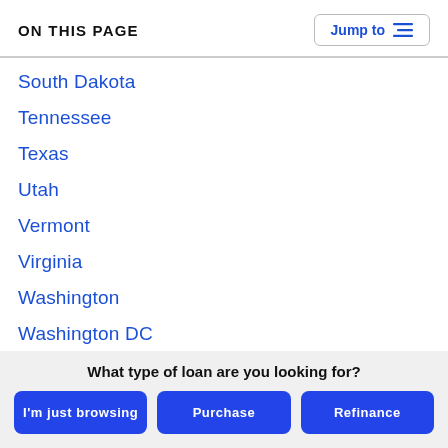ON THIS PAGE
South Dakota
Tennessee
Texas
Utah
Vermont
Virginia
Washington
Washington DC
West Virginia
Wisconsin
Wyoming
What type of loan are you looking for?
I'm just browsing | Purchase | Refinance